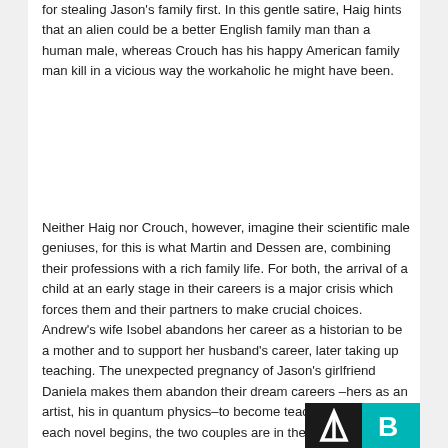for stealing Jason's family first. In this gentle satire, Haig hints that an alien could be a better English family man than a human male, whereas Crouch has his happy American family man kill in a vicious way the workaholic he might have been.
Neither Haig nor Crouch, however, imagine their scientific male geniuses, for this is what Martin and Dessen are, combining their professions with a rich family life. For both, the arrival of a child at an early stage in their careers is a major crisis which forces them and their partners to make crucial choices. Andrew's wife Isobel abandons her career as a historian to be a mother and to support her husband's career, later taking up teaching. The unexpected pregnancy of Jason's girlfriend Daniela makes them abandon their dream careers –hers as an artist, his in quantum physics–to become teachers, too. When each novel begins, the two couples are in their early forties and have been in their relationships for long: 20 years in Andrew and Isobel's case, 15 in Jason and Daniela's case. The novels narrate, then, a sort of crisis.